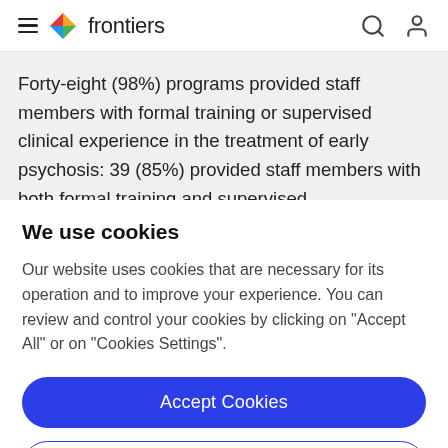frontiers
Forty-eight (98%) programs provided staff members with formal training or supervised clinical experience in the treatment of early psychosis: 39 (85%) provided staff members with both formal training and supervised
We use cookies
Our website uses cookies that are necessary for its operation and to improve your experience. You can review and control your cookies by clicking on "Accept All" or on "Cookies Settings".
Accept Cookies
Cookies Settings